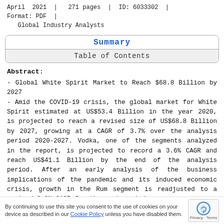April  2021  |   271 pages  |  ID: 6033302  |   Format: PDF  |
Global Industry Analysts
Summary
Table of Contents
Abstract:
- Global White Spirit Market to Reach $68.8 Billion by 2027
- Amid the COVID-19 crisis, the global market for White Spirit estimated at US$53.4 Billion in the year 2020, is projected to reach a revised size of US$68.8 Billion by 2027, growing at a CAGR of 3.7% over the analysis period 2020-2027. Vodka, one of the segments analyzed in the report, is projected to record a 3.6% CAGR and reach US$41.1 Billion by the end of the analysis period. After an early analysis of the business implications of the pandemic and its induced economic crisis, growth in the Rum segment is readjusted to a revised 3.9% CAGR for the next period.
By continuing to use this site you consent to the use of cookies on your device as described in our Cookie Policy unless you have disabled them.